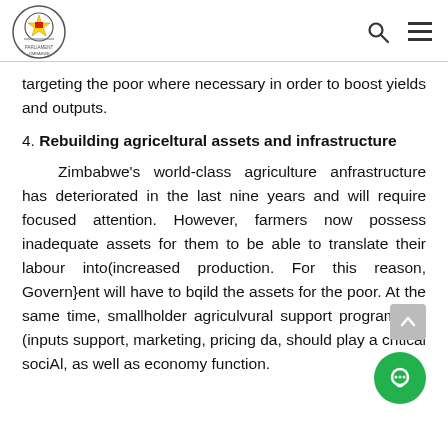Parliament of Zimbabwe header with logo, search and menu icons
targeting the poor where necessary in order to boost yields and outputs.
4. Rebuilding agriceltural assets and infrastructure
Zimbabwe's world-class agriculture anfrastructure has deteriorated in the last nine years and will require focused attention. However, farmers now possess inadequate assets for them to be able to translate their labour into(increased production. For this reason, Govern}ent will have to bqild the assets for the poor. At the same time, smallholder agriculvural support programmes (inputs support, marketing, pricing data, should play a critical sociAl, as well as economic and social/y function.